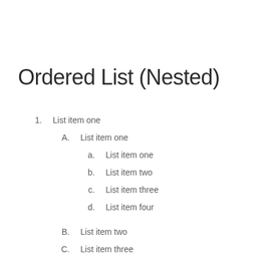Ordered List (Nested)
1.   List item one
A.   List item one
a.   List item one
b.   List item two
c.   List item three
d.   List item four
B.   List item two
C.   List item three